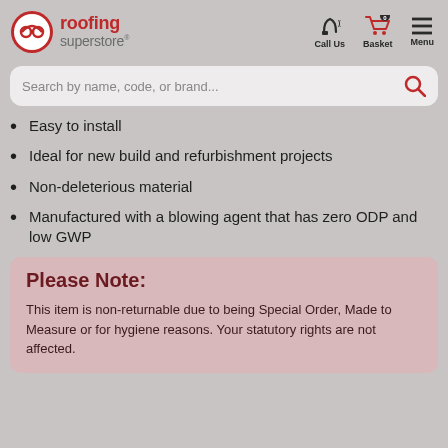roofing superstore® | Call Us | Basket (0) | Menu
Search by name, code, or brand...
Easy to install
Ideal for new build and refurbishment projects
Non-deleterious material
Manufactured with a blowing agent that has zero ODP and low GWP
Please Note:
This item is non-returnable due to being Special Order, Made to Measure or for hygiene reasons. Your statutory rights are not affected.